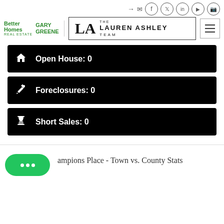[Figure (logo): Better Homes and Gardens Real Estate Gary Greene logo]
[Figure (logo): The Lauren Ashley Team logo]
[Figure (other): Hamburger menu icon]
Open House: 0
Foreclosures: 0
Short Sales: 0
ampions Place - Town vs. County Stats